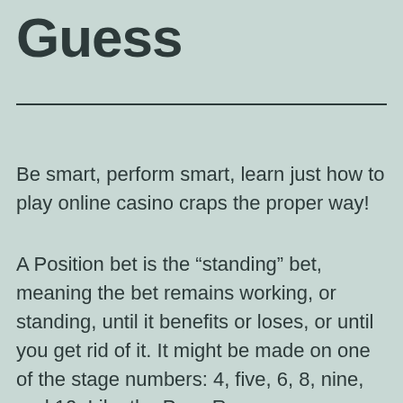Guess
Be smart, perform smart, learn just how to play online casino craps the proper way!
A Position bet is the “standing” bet, meaning the bet remains working, or standing, until it benefits or loses, or until you get rid of it. It might be made on one of the stage numbers: 4, five, 6, 8, nine, and 10. Like the Pass Range